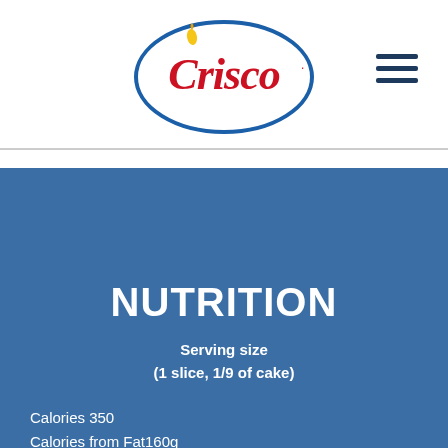[Figure (logo): Crisco brand logo — red cursive Crisco text inside a blue oval ellipse with a yellow flame drop above the C]
[Figure (other): Hamburger menu icon — three horizontal dark navy bars]
NUTRITION
Serving size
(1 slice, 1/9 of cake)
Calories 350
Calories from Fat160g